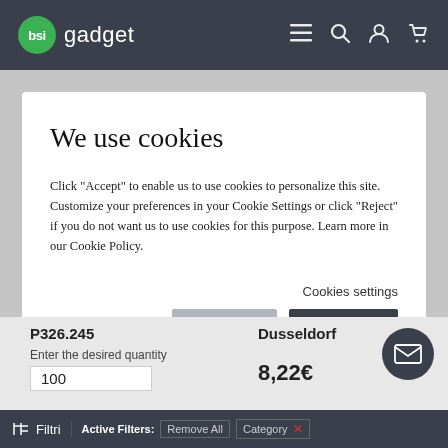bsi gadget
We use cookies
Click “Accept” to enable us to use cookies to personalize this site. Customize your preferences in your Cookie Settings or click “Reject” if you do not want us to use cookies for this purpose. Learn more in our Cookie Policy.
Cookies settings
Reject
Accept
P326.245
Dusseldorf
Enter the desired quantity
100
8,22€
Filtri   Active Filters:   Remove All   Category ✕